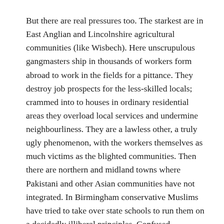But there are real pressures too. The starkest are in East Anglian and Lincolnshire agricultural communities (like Wisbech). Here unscrupulous gangmasters ship in thousands of workers form abroad to work in the fields for a pittance. They destroy job prospects for the less-skilled locals; crammed into to houses in ordinary residential areas they overload local services and undermine neighbourliness. They are a lawless other, a truly ugly phenomenon, with the workers themselves as much victims as the blighted communities. Then there are northern and midland towns where Pakistani and other Asian communities have not integrated. In Birmingham conservative Muslims have tried to take over state schools to run them on a decidedly illiberal principles. Confused youngsters may be radicalised and converted to terrorist activities. Such British icons as penny day to